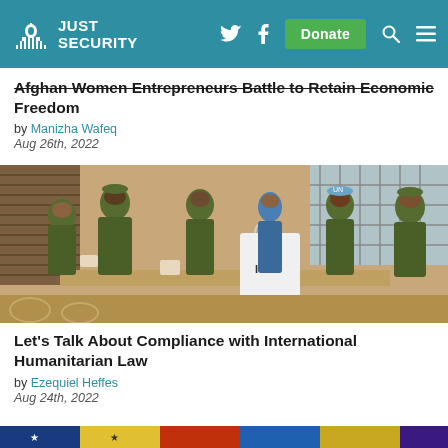JUST SECURITY
Afghan Women Entrepreneurs Battle to Retain Economic Freedom
by Manizha Wafeq
Aug 26th, 2022
[Figure (photo): Military officers in camouflage uniforms gathered around a table with an ICRC bag, in an indoor setting with wooden blinds and latticed windows]
Let's Talk About Compliance with International Humanitarian Law
by Ezequiel Heffes
Aug 24th, 2022
[Figure (photo): Partial image at the bottom of the page showing colorful flags or banners]